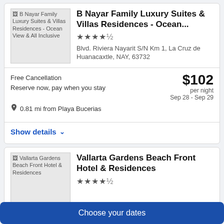[Figure (photo): Thumbnail image placeholder for B Nayar Family Luxury Suites & Villas Residences - Ocean View & All Inclusive]
B Nayar Family Luxury Suites & Villas Residences - Ocean...
★★★★½
Blvd. Riviera Nayarit S/N Km 1, La Cruz de Huanacaxtle, NAY, 63732
Free Cancellation
Reserve now, pay when you stay
$102 per night
Sep 28 - Sep 29
0.81 mi from Playa Bucerias
Show details ▾
[Figure (photo): Thumbnail image placeholder for Vallarta Gardens Beach Front Hotel & Residences]
Vallarta Gardens Beach Front Hotel & Residences
★★★★½
Choose your dates